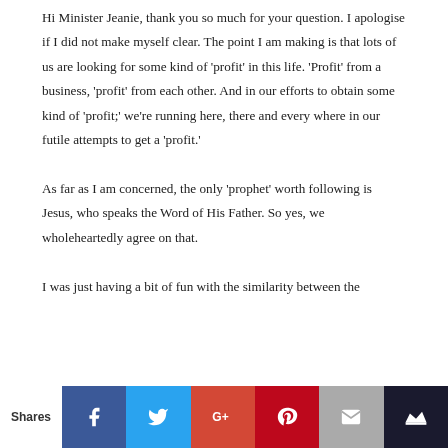Hi Minister Jeanie, thank you so much for your question. I apologise if I did not make myself clear. The point I am making is that lots of us are looking for some kind of 'profit' in this life. 'Profit' from a business, 'profit' from each other. And in our efforts to obtain some kind of 'profit;' we're running here, there and every where in our futile attempts to get a 'profit.'

As far as I am concerned, the only 'prophet' worth following is Jesus, who speaks the Word of His Father. So yes, we wholeheartedly agree on that.

I was just having a bit of fun with the similarity between the
Shares [Facebook] [Twitter] [Google+] [Pinterest] [Email] [Crown]